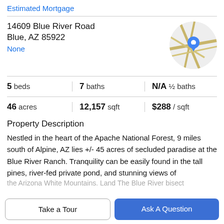Estimated Mortgage
14609 Blue River Road
Blue, AZ 85922
None
[Figure (map): Circular map thumbnail with a blue location pin marker, showing road outlines on a light gray background with tan/yellow road lines.]
| 5 beds | 7 baths | N/A ½ baths |
| 46 acres | 12,157 sqft | $288 / sqft |
Property Description
Nestled in the heart of the Apache National Forest, 9 miles south of Alpine, AZ lies +/- 45 acres of secluded paradise at the Blue River Ranch. Tranquility can be easily found in the tall pines, river-fed private pond, and stunning views of the Arizona White Mountains. And The Blue River bisect
Take a Tour
Ask A Question